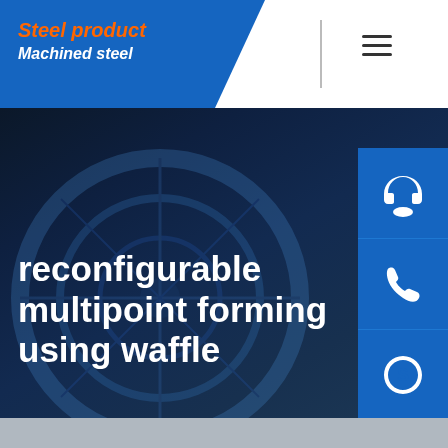Steel product / Machined steel
[Figure (screenshot): Hero banner with dark blue mechanical/gear background and large white text reading 'reconfigurable multipoint forming using waffle'. Side panel shows three blue icon buttons: customer service (headset), phone, and Skype icons.]
Home / reconfigurable multipoint forming using waffle
[Figure (photo): Bottom strip showing partial photos of steel/machined products]